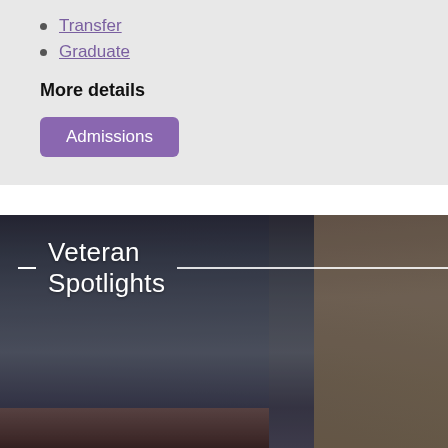Transfer
Graduate
More details
Admissions
[Figure (photo): Close-up photo of a person with blue-tinted hair and black glasses, used as background for the Veteran Spotlights section. White text overlay reads 'Veteran Spotlights' with decorative horizontal lines.]